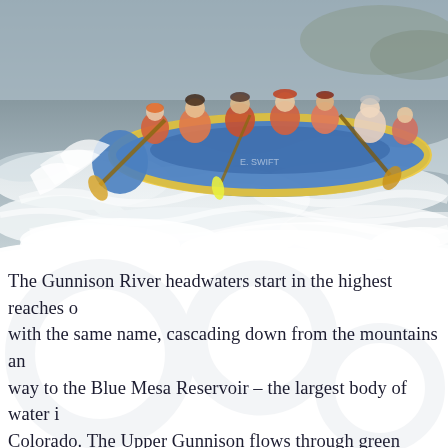[Figure (photo): Group of people white-water rafting in a blue inflatable raft on a turbulent river with large white-water waves. The rafters are wearing life jackets and helmets. The photo is taken from a low angle showing churning white water in the foreground.]
The Gunnison River headwaters start in the highest reaches of with the same name, cascading down from the mountains and way to the Blue Mesa Reservoir – the largest body of water i Colorado. The Upper Gunnison flows through green pastures cottonwood trees, at one point cruising by ancient volcanic r soaring straight out of the river high into the sky.